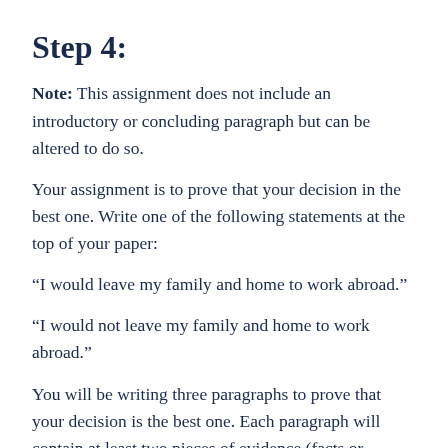Step 4:
Note: This assignment does not include an introductory or concluding paragraph but can be altered to do so.
Your assignment is to prove that your decision in the best one. Write one of the following statements at the top of your paper:
“I would leave my family and home to work abroad.”
“I would not leave my family and home to work abroad.”
You will be writing three paragraphs to prove that your decision is the best one. Each paragraph will contain at least two pieces of evidence (facts or